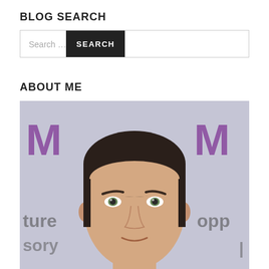BLOG SEARCH
[Figure (screenshot): Search bar with text input field showing 'Search ...' placeholder and a dark 'SEARCH' button on the right]
ABOUT ME
[Figure (photo): Headshot photo of a man with short dark hair and green eyes, standing in front of a blurred background with purple text/signage]